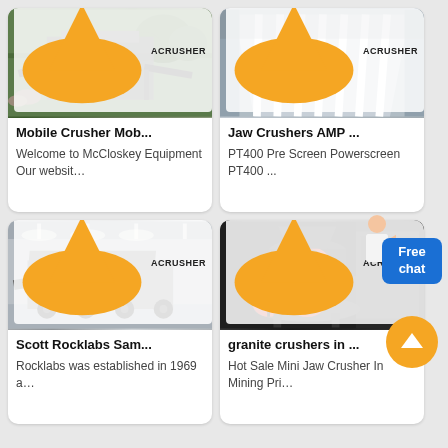[Figure (photo): Mobile crusher equipment at a quarry/mining site with conveyor belts and trees in background, Acrusher brand badge]
Mobile Crusher Mob...
Welcome to McCloskey Equipment Our websit…
[Figure (photo): Jaw crusher or screen equipment showing parallel metal bars/grates, Acrusher brand badge]
Jaw Crushers AMP ...
PT400 Pre Screen Powerscreen PT400 ...
[Figure (photo): Large mobile crusher machine inside an industrial warehouse/factory, Acrusher brand badge]
Scott Rocklabs Sam...
Rocklabs was established in 1969 a…
[Figure (photo): Cone crusher machine with red flywheel in a workshop/factory setting, Acrusher brand badge]
granite crushers in ...
Hot Sale Mini Jaw Crusher In Mining Pri…